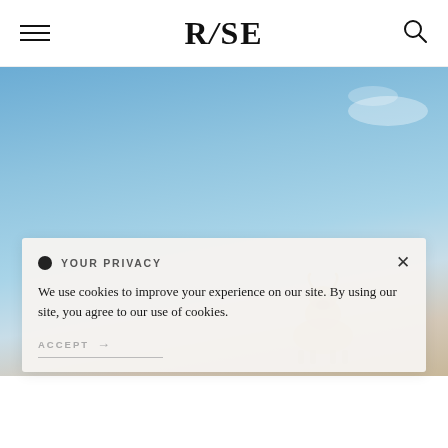RISE (logo) — navigation header with hamburger menu and search icon
[Figure (photo): Blue sky with light clouds and a cow/bull visible in the lower right portion of the image]
YOUR PRIVACY
We use cookies to improve your experience on our site. By using our site, you agree to our use of cookies.
ACCEPT →